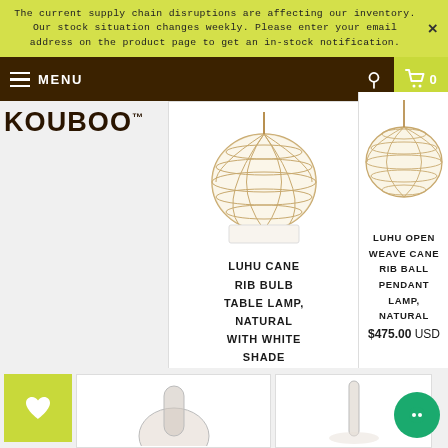The current supply chain disruptions are affecting our inventory. Our stock situation changes weekly. Please enter your email address on the product page to get an in-stock notification.
MENU | search | cart 0
[Figure (logo): KOUBOO trademark logo in dark brown bold text]
[Figure (photo): Luhu Cane Rib Bulb Table Lamp, Natural with White Shade - woven cane lamp product photo]
LUHU CANE RIB BULB TABLE LAMP, NATURAL WITH WHITE SHADE
$165.00 USD
[Figure (photo): Luhu Open Weave Cane Rib Ball Pendant Lamp, Natural - woven cane ball pendant lamp product photo]
LUHU OPEN WEAVE CANE RIB BALL PENDANT LAMP, NATURAL
$475.00 USD
[Figure (photo): Bottom row product image partially visible - lamp product]
[Figure (photo): Bottom row product image partially visible - lamp product]